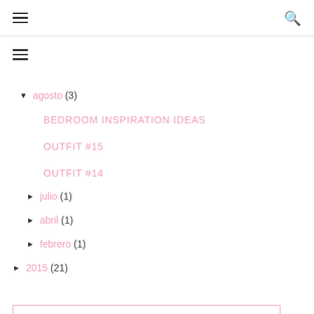≡ 🔍
[Figure (other): Hamburger menu icon (three horizontal lines) in sidebar]
▼ agosto (3)
BEDROOM INSPIRATION IDEAS
OUTFIT #15
OUTFIT #14
► julio (1)
► abril (1)
► febrero (1)
► 2015 (21)